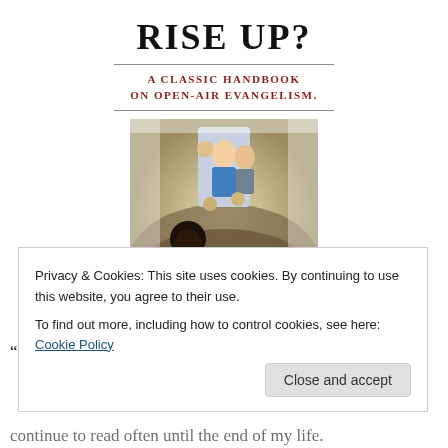RISE UP?
A CLASSIC HANDBOOK ON OPEN-AIR EVANGELISM.
[Figure (photo): Book cover image showing a crowd of people with a speaker or preacher visible above them]
BY JED SMOCK
“Who Will Rise Up” by Brother Jed Smock is one of the
Privacy & Cookies: This site uses cookies. By continuing to use this website, you agree to their use.
To find out more, including how to control cookies, see here: Cookie Policy
continue to read often until the end of my life.